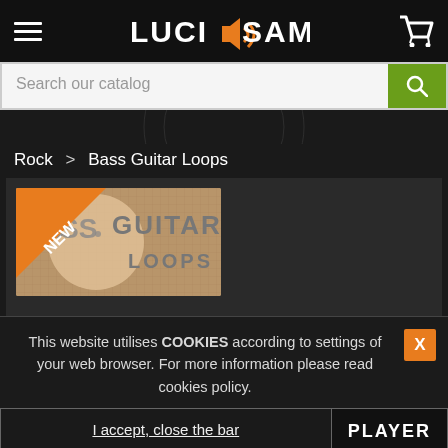[Figure (logo): Lucid Samples logo with orange speaker/sound icon and hamburger menu on left, shopping cart icon on right, white text on dark background]
Search our catalog
Rock > Bass Guitar Loops
[Figure (photo): Bass Guitar Loops product image with orange 'NEW' badge corner ribbon, text reads 'BASS GUITAR LOOPS' on brown/burlap textured background]
This website utilises COOKIES according to settings of your web browser. For more information please read cookies policy.
I accept, close the bar
PLAYER